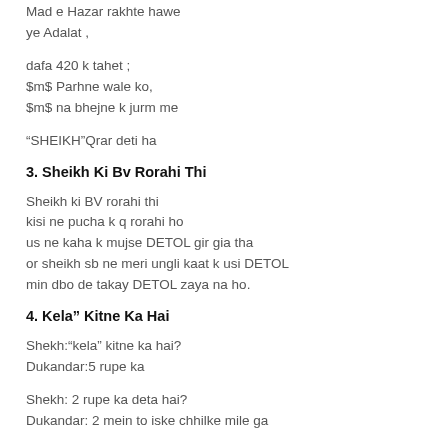Mad e Hazar rakhte hawe
ye Adalat ,
dafa 420 k tahet ;
$m$ Parhne wale ko,
$m$ na bhejne k jurm me
“SHEIKH”Qrar deti ha
3. Sheikh Ki Bv Rorahi Thi
Sheikh ki BV rorahi thi
kisi ne pucha k q rorahi ho
us ne kaha k mujse DETOL gir gia tha
or sheikh sb ne meri ungli kaat k usi DETOL
min dbo de takay DETOL zaya na ho.
4. Kela” Kitne Ka Hai
Shekh:“kela” kitne ka hai?
Dukandar:5 rupe ka
Shekh: 2 rupe ka deta hai?
Dukandar: 2 mein to iske chhilke mile ga